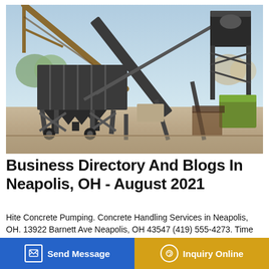[Figure (photo): Industrial heavy equipment / concrete batching plant with conveyor belts and hopper on a concrete yard, trees and other machinery visible in background, blue sky.]
Business Directory And Blogs In Neapolis, OH - August 2021
Hite Concrete Pumping. Concrete Handling Services in Neapolis, OH. 13922 Barnett Ave Neapolis, OH 43547 (419) 555-4273. Time Warner Cable. Cable Television Companies & ... Neapolis, OH ... 7325. Neapolis Pizza. Pizza Restaurant in Neapolis, OH. 8139